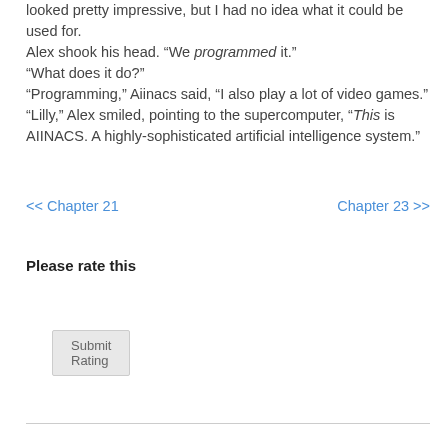looked pretty impressive, but I had no idea what it could be used for.
Alex shook his head. “We programmed it.”
“What does it do?”
“Programming,” Aiinacs said, “I also play a lot of video games.”
“Lilly,” Alex smiled, pointing to the supercomputer, “This is AIINACS. A highly-sophisticated artificial intelligence system.”
<< Chapter 21    Chapter 23 >>
Please rate this
Submit Rating